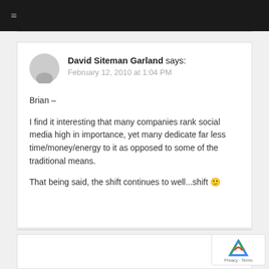≡
David Siteman Garland says:
February 12, 2010 at 1:04 PM
Brian –

I find it interesting that many companies rank social media high in importance, yet many dedicate far less time/money/energy to it as opposed to some of the traditional means.

That being said, the shift continues to well...shift 🙂